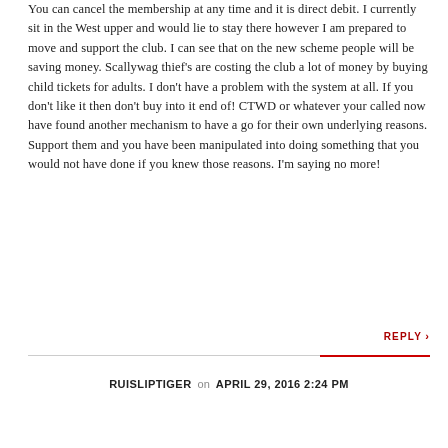You can cancel the membership at any time and it is direct debit. I currently sit in the West upper and would lie to stay there however I am prepared to move and support the club. I can see that on the new scheme people will be saving money. Scallywag thief's are costing the club a lot of money by buying child tickets for adults. I don't have a problem with the system at all. If you don't like it then don't buy into it end of! CTWD or whatever your called now have found another mechanism to have a go for their own underlying reasons. Support them and you have been manipulated into doing something that you would not have done if you knew those reasons. I'm saying no more!
REPLY >
RUISLIPTIGER on APRIL 29, 2016 2:24 PM